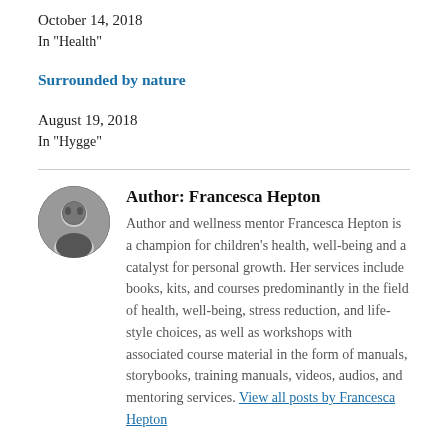October 14, 2018
In "Health"
Surrounded by nature
August 19, 2018
In "Hygge"
Author: Francesca Hepton
Author and wellness mentor Francesca Hepton is a champion for children's health, well-being and a catalyst for personal growth. Her services include books, kits, and courses predominantly in the field of health, well-being, stress reduction, and life-style choices, as well as workshops with associated course material in the form of manuals, storybooks, training manuals, videos, audios, and mentoring services. View all posts by Francesca Hepton